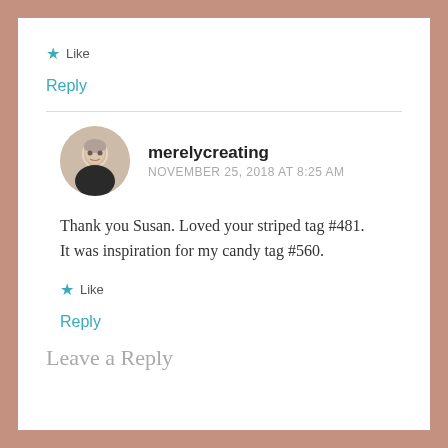★ Like
Reply
[Figure (photo): Circular avatar photo of an older woman with grey hair]
merelycreating
NOVEMBER 25, 2018 AT 8:25 AM
Thank you Susan. Loved your striped tag #481. It was inspiration for my candy tag #560.
★ Like
Reply
Leave a Reply